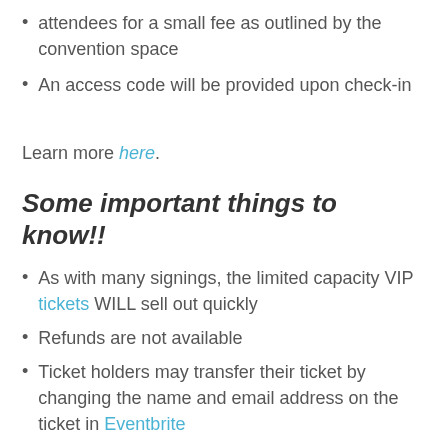attendees for a small fee as outlined by the convention space
An access code will be provided upon check-in
Learn more here.
Some important things to know!!
As with many signings, the limited capacity VIP tickets WILL sell out quickly
Refunds are not available
Ticket holders may transfer their ticket by changing the name and email address on the ticket in Eventbrite
Sto...